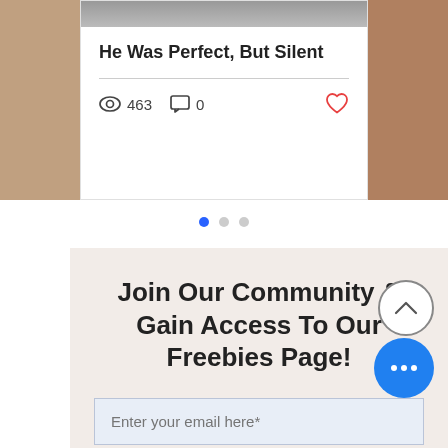[Figure (screenshot): Blog post card with image, title 'He Was Perfect, But Silent', view count 463, comment count 0, and heart icon]
He Was Perfect, But Silent
463  0
[Figure (infographic): Carousel pagination dots: one blue active dot and two grey dots]
Join Our Community & Gain Access To Our Freebies Page!
Enter your email here*
Subscribe